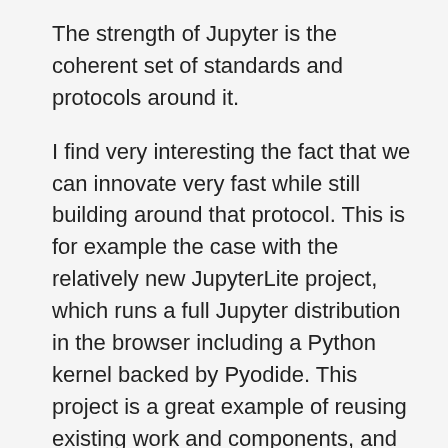The strength of Jupyter is the coherent set of standards and protocols around it.
I find very interesting the fact that we can innovate very fast while still building around that protocol. This is for example the case with the relatively new JupyterLite project, which runs a full Jupyter distribution in the browser including a Python kernel backed by Pyodide. This project is a great example of reusing existing work and components, and interfacing them in a different way to produce something useful and new.
Thanks for doing the interview, Jeremy!